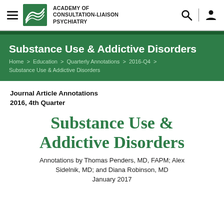Academy of Consultation-Liaison Psychiatry
Substance Use & Addictive Disorders
Home > Education > Quarterly Annotations > 2016-Q4 > Substance Use & Addictive Disorders
Journal Article Annotations
2016, 4th Quarter
Substance Use & Addictive Disorders
Annotations by Thomas Penders, MD, FAPM; Alex Sidelnik, MD; and Diana Robinson, MD
January 2017